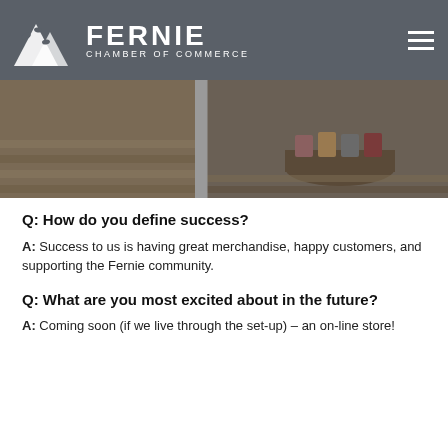FERNIE CHAMBER OF COMMERCE
[Figure (photo): Interior shot of a retail store showing shoes/boots displayed on wooden stump risers and metal fixtures, warm wood floor visible]
Q: How do you define success?
A: Success to us is having great merchandise, happy customers, and supporting the Fernie community.
Q: What are you most excited about in the future?
A: Coming soon (if we live through the set-up) – an on-line store!